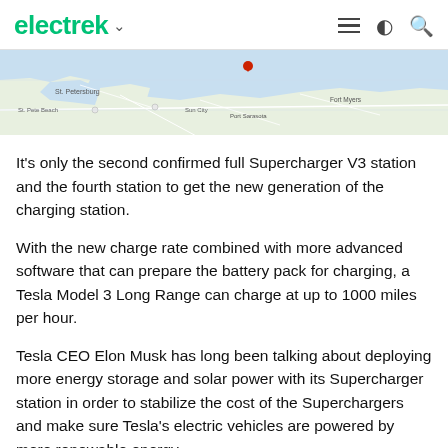electrek
[Figure (map): Google Maps screenshot showing coastal Florida area including St. Petersburg, Tampa Bay region, with a red location marker]
It's only the second confirmed full Supercharger V3 station and the fourth station to get the new generation of the charging station.
With the new charge rate combined with more advanced software that can prepare the battery pack for charging, a Tesla Model 3 Long Range can charge at up to 1000 miles per hour.
Tesla CEO Elon Musk has long been talking about deploying more energy storage and solar power with its Supercharger station in order to stabilize the cost of the Superchargers and make sure Tesla's electric vehicles are powered by more renewable energy.
3 years ago, he linked the deployment of those technologies